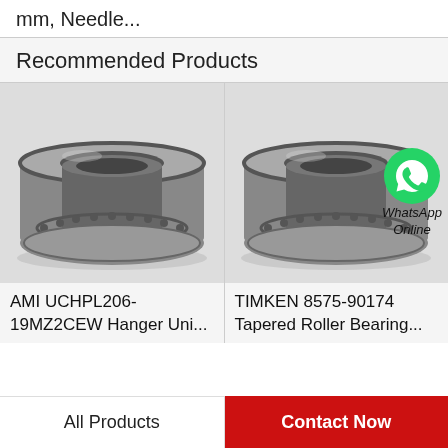mm, Needle...
Recommended Products
[Figure (photo): AMI UCHPL206-19MZ2CEW Hanger Unit bearing product photo]
AMI UCHPL206-19MZ2CEW Hanger Uni...
[Figure (photo): TIMKEN 8575-90174 Tapered Roller Bearing product photo with WhatsApp Online overlay]
TIMKEN 8575-90174 Tapered Roller Bearing...
All Products    Contact Now